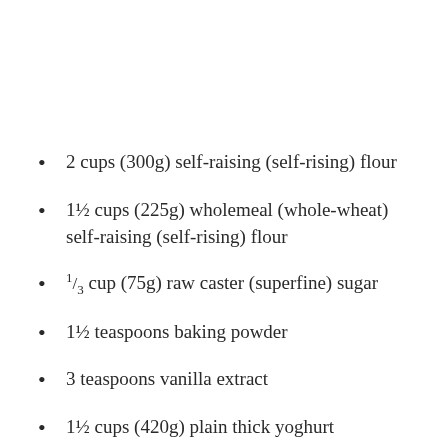2 cups (300g) self-raising (self-rising) flour
1½ cups (225g) wholemeal (whole-wheat) self-raising (self-rising) flour
⅓ cup (75g) raw caster (superfine) sugar
1½ teaspoons baking powder
3 teaspoons vanilla extract
1½ cups (420g) plain thick yoghurt